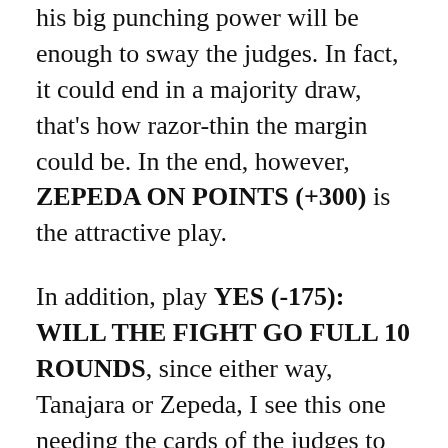his big punching power will be enough to sway the judges. In fact, it could end in a majority draw, that's how razor-thin the margin could be. In the end, however, ZEPEDA ON POINTS (+300) is the attractive play.
In addition, play YES (-175): WILL THE FIGHT GO FULL 10 ROUNDS, since either way, Tanajara or Zepeda, I see this one needing the cards of the judges to decide a winner.
Visit Boxing Junkie for more fight news and analysis.
If you want some action on this bout, place your wagers at BetMGM now. For more sports betting picks and analysis, visit